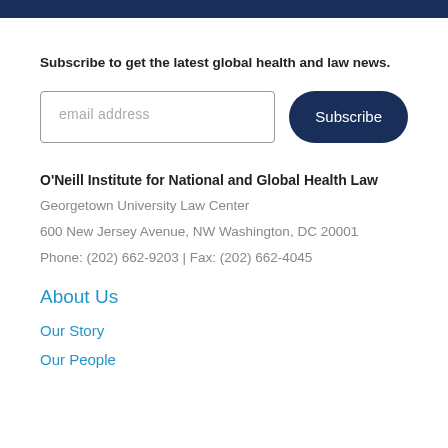Subscribe to get the latest global health and law news.
email address  Subscribe
O'Neill Institute for National and Global Health Law
Georgetown University Law Center
600 New Jersey Avenue, NW Washington, DC 20001
Phone: (202) 662-9203 | Fax: (202) 662-4045
About Us
Our Story
Our People